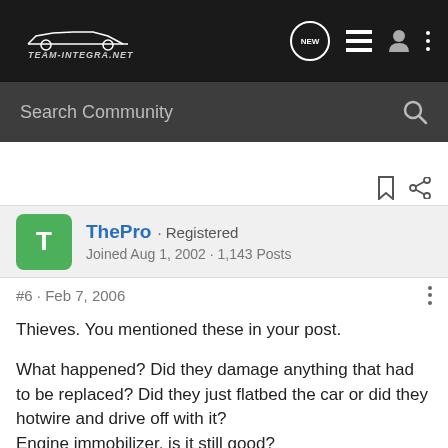[Figure (logo): Team-Integra.net logo on dark navigation bar with icons: NEW chat bubble, list icon, user icon, three-dot menu]
Search Community
ThePro · Registered
Joined Aug 1, 2002 · 1,143 Posts
#6 · Feb 7, 2006
Thieves. You mentioned these in your post.
What happened? Did they damage anything that had to be replaced? Did they just flatbed the car or did they hotwire and drive off with it?
Engine immobilizer, is it still good?